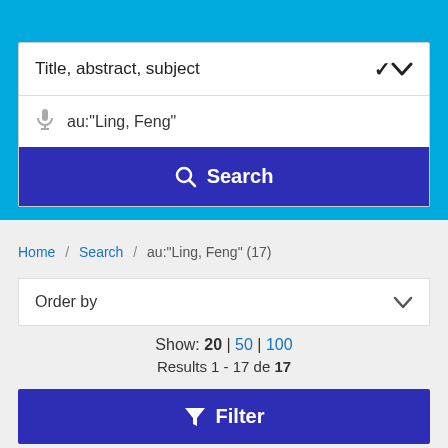Title, abstract, subject
au:"Ling, Feng"
Search
Home / Search / au:"Ling, Feng" (17)
Order by
Show: 20 | 50 | 100
Results 1 - 17 de 17
Filter